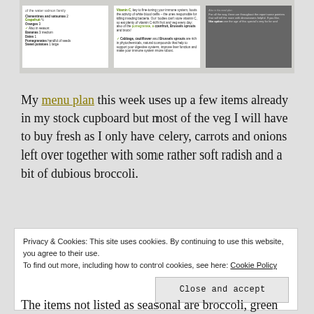[Figure (photo): Photograph of printed cards or pages showing seasonal food/menu information with text about vitamins and vegetables]
My menu plan this week uses up a few items already in my stock cupboard but most of the veg I will have to buy fresh as I only have celery, carrots and onions left over together with some rather soft radish and a bit of dubious broccoli.
Privacy & Cookies: This site uses cookies. By continuing to use this website, you agree to their use.
To find out more, including how to control cookies, see here: Cookie Policy
Close and accept
The items not listed as seasonal are broccoli, green